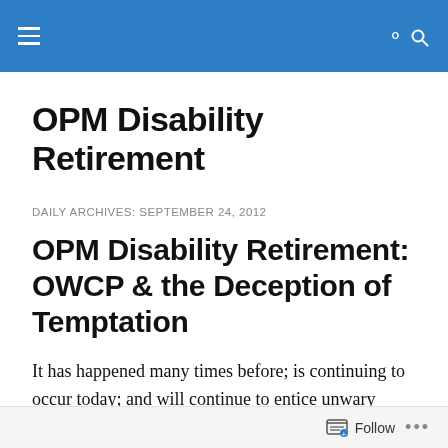OPM Disability Retirement [site navigation header with hamburger menu and search icon]
OPM Disability Retirement
DAILY ARCHIVES: SEPTEMBER 24, 2012
OPM Disability Retirement: OWCP & the Deception of Temptation
It has happened many times before; is continuing to occur today; and will continue to entice unwary Federal and Postal employees throughout the country, throughout the
Follow ...